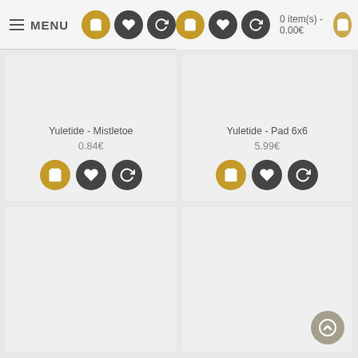MENU | 0 item(s) - 0.00€
Yuletide - Mistletoe
0.84€
Yuletide - Pad 6x6
5.99€